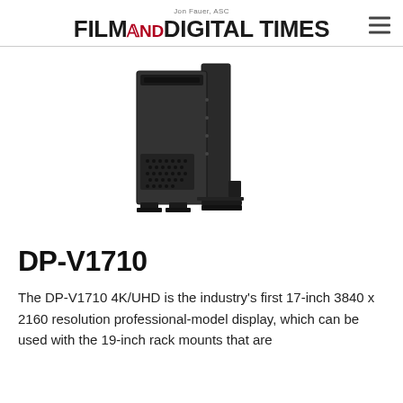Jon Fauer, ASC
FILM AND DIGITAL TIMES
[Figure (photo): Side/rear view of Canon DP-V1710 4K/UHD professional monitor, a dark/black rack-mountable display unit shown at an angle revealing ventilation grilles and mounting hardware]
DP-V1710
The DP-V1710 4K/UHD is the industry's first 17-inch 3840 x 2160 resolution professional-model display, which can be used with the 19-inch rack mounts that are